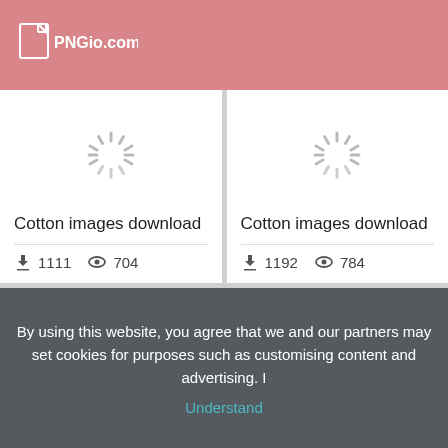PNGio.com
[Figure (screenshot): Card showing loading spinner for Cotton images download with 1111 downloads and 704 views]
[Figure (screenshot): Card showing loading spinner for Cotton images download with 1192 downloads and 784 views]
[Figure (screenshot): Card showing loading spinner (partially visible)]
[Figure (screenshot): Card showing loading spinner (partially visible)]
By using this website, you agree that we and our partners may set cookies for purposes such as customising content and advertising. I Understand